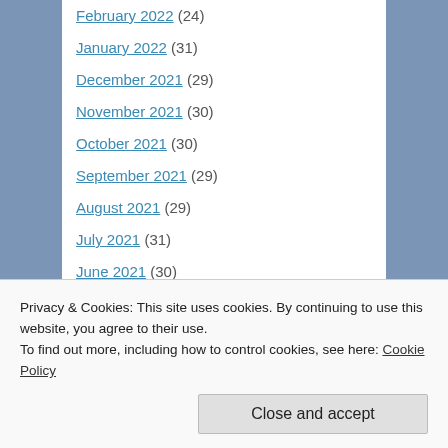February 2022 (24)
January 2022 (31)
December 2021 (29)
November 2021 (30)
October 2021 (30)
September 2021 (29)
August 2021 (29)
July 2021 (31)
June 2021 (30)
May 2021 (35)
April 2021 (34)
Privacy & Cookies: This site uses cookies. By continuing to use this website, you agree to their use.
To find out more, including how to control cookies, see here: Cookie Policy
Close and accept